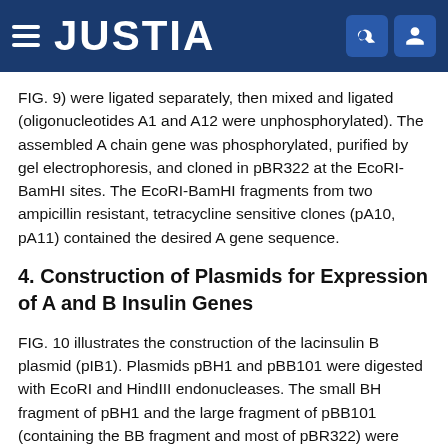JUSTIA
FIG. 9) were ligated separately, then mixed and ligated (oligonucleotides A1 and A12 were unphosphorylated). The assembled A chain gene was phosphorylated, purified by gel electrophoresis, and cloned in pBR322 at the EcoRI-BamHI sites. The EcoRI-BamHI fragments from two ampicillin resistant, tetracycline sensitive clones (pA10, pA11) contained the desired A gene sequence.
4. Construction of Plasmids for Expression of A and B Insulin Genes
FIG. 10 illustrates the construction of the lacinsulin B plasmid (pIB1). Plasmids pBH1 and pBB101 were digested with EcoRI and HindIII endonucleases. The small BH fragment of pBH1 and the large fragment of pBB101 (containing the BB fragment and most of pBR322) were purified by gel electrophoresis, mixed, and